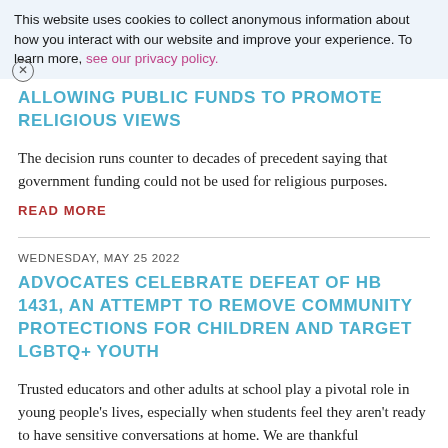This website uses cookies to collect anonymous information about how you interact with our website and improve your experience. To learn more, see our privacy policy.
ALLOWING PUBLIC FUNDS TO PROMOTE RELIGIOUS VIEWS
The decision runs counter to decades of precedent saying that government funding could not be used for religious purposes.
READ MORE
WEDNESDAY, MAY 25 2022
ADVOCATES CELEBRATE DEFEAT OF HB 1431, AN ATTEMPT TO REMOVE COMMUNITY PROTECTIONS FOR CHILDREN AND TARGET LGBTQ+ YOUTH
Trusted educators and other adults at school play a pivotal role in young people's lives, especially when students feel they aren't ready to have sensitive conversations at home. We are thankful